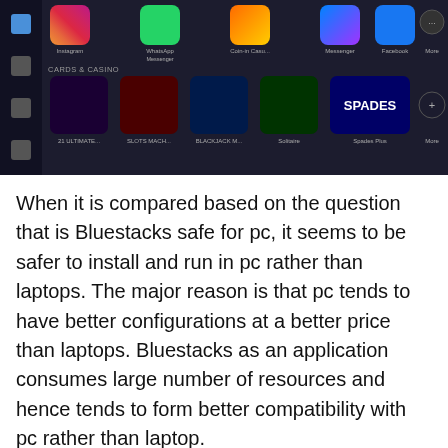[Figure (screenshot): Screenshot of Bluestacks Android emulator interface showing app icons (Instagram, WhatsApp Messenger, Casino, Messenger, Facebook) and a Cards & Casino games section with several game thumbnails including Spades.]
When it is compared based on the question that is Bluestacks safe for pc, it seems to be safer to install and run in pc rather than laptops. The major reason is that pc tends to have better configurations at a better price than laptops. Bluestacks as an application consumes large number of resources and hence tends to form better compatibility with pc rather than laptop.
There are few risks which are always a part and parcel of software available online. These include website from where Bluestacks is downloaded might have virus infected or it might be that the Bluestack